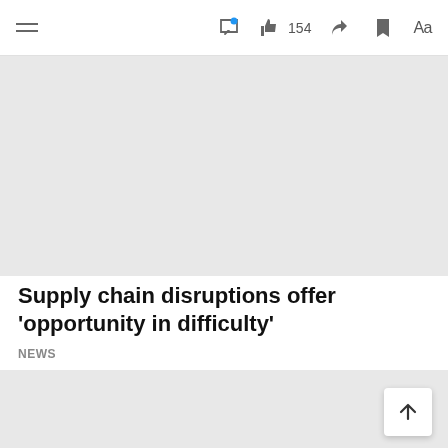Navigation bar with hamburger menu, comment icon with notification dot, thumbs up 154, share, bookmark, and Aa icons
[Figure (photo): Gray placeholder image rectangle at top of article]
Supply chain disruptions offer 'opportunity in difficulty'
NEWS
[Figure (photo): Gray placeholder image rectangle below article title]